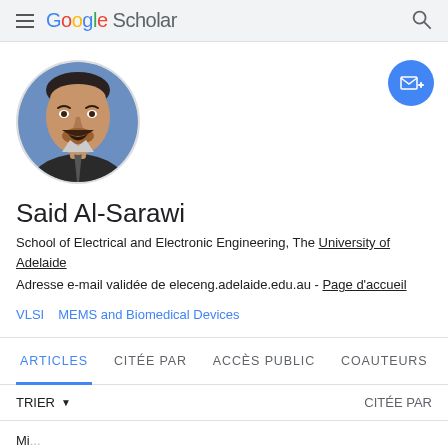Google Scholar
[Figure (photo): Circular profile photo of Said Al-Sarawi, a man in a dark suit with a tie, against a blue background]
Said Al-Sarawi
School of Electrical and Electronic Engineering, The University of Adelaide
Adresse e-mail validée de eleceng.adelaide.edu.au - Page d'accueil
VLSI
MEMS and Biomedical Devices
ARTICLES  CITÉE PAR  ACCÈS PUBLIC  COAUTEURS
TRIER  CITÉE PAR